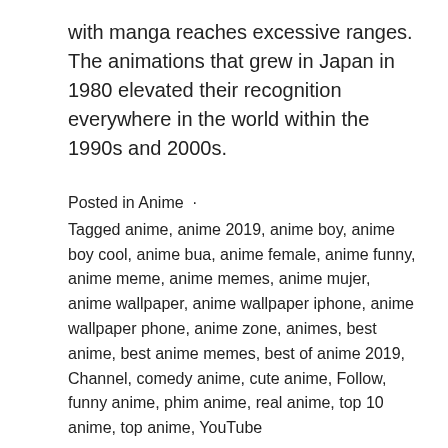with manga reaches excessive ranges. The animations that grew in Japan in 1980 elevated their recognition everywhere in the world within the 1990s and 2000s.
Posted in Anime · Tagged anime, anime 2019, anime boy, anime boy cool, anime bua, anime female, anime funny, anime meme, anime memes, anime mujer, anime wallpaper, anime wallpaper iphone, anime wallpaper phone, anime zone, animes, best anime, best anime memes, best of anime 2019, Channel, comedy anime, cute anime, Follow, funny anime, phim anime, real anime, top 10 anime, top anime, YouTube